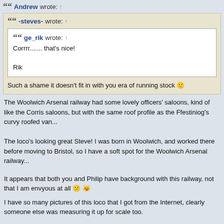Andrew wrote: ↑ [nested quote block]
-steves- wrote: ↑ [nested quote block]
ge_rik wrote: ↑
Corrrr....... that's nice!

Rik
Such a shame it doesn't fit in with you era of running stock 🙂
The Woolwich Arsenal railway had some lovely officers' saloons, kind of like the Corris saloons, but with the same roof profile as the Ffestiniog's curvy roofed van...
The loco's looking great Steve! I was born in Woolwich, and worked there before moving to Bristol, so I have a soft spot for the Woolwich Arsenal railway...
It appears that both you and Philip have background with this railway, not that I am envyous at all 😕 😸
I have so many pictures of this loco that I got from the Internet, clearly someone else was measuring it up for scale too.